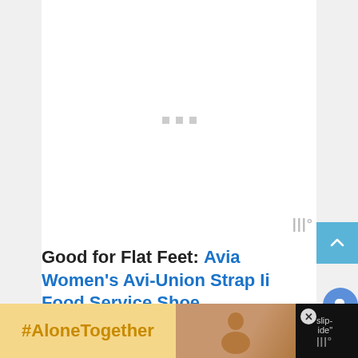[Figure (other): Advertisement placeholder with three gray squares/dots in the center on a white background]
Good for Flat Feet: Avia Women's Avi-Union Strap Ii Food Service Shoe
"Clearly, the best thing…"  … slip-
[Figure (other): #AloneTogether advertisement banner at the bottom with a person image and a close button]